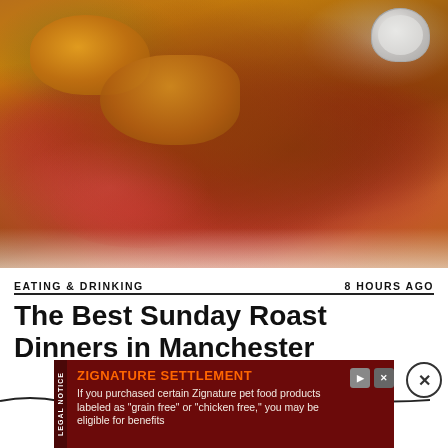[Figure (photo): Close-up photo of a Sunday roast dinner featuring rare sliced beef with rich brown gravy, Yorkshire pudding, and a small metal cup of sauce/cream on a white plate.]
EATING & DRINKING
8 HOURS AGO
The Best Sunday Roast Dinners in Manchester
LEGAL NOTICE
ZIGNATURE SETTLEMENT
If you purchased certain Zignature pet food products labeled as "grain free" or "chicken free," you may be eligible for benefits